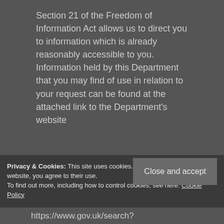Section 21 of the Freedom of Information Act allows us to direct you to information which is already reasonably accessible to you. Information held by this Department that you may find of use in relation to your request can be found at the attached link to the Department's website
Privacy & Cookies: This site uses cookies. By continuing to use this website, you agree to their use. To find out more, including how to control cookies, see here: Cookie Policy
Close and accept
https://www.gov.uk/search?